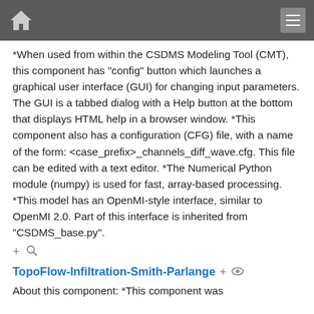[navigation bar with home icon and menu icon]
*When used from within the CSDMS Modeling Tool (CMT), this component has "config" button which launches a graphical user interface (GUI) for changing input parameters. The GUI is a tabbed dialog with a Help button at the bottom that displays HTML help in a browser window. *This component also has a configuration (CFG) file, with a name of the form: <case_prefix>_channels_diff_wave.cfg. This file can be edited with a text editor. *The Numerical Python module (numpy) is used for fast, array-based processing. *This model has an OpenMI-style interface, similar to OpenMI 2.0. Part of this interface is inherited from "CSDMS_base.py".
+ [search icon]
TopoFlow-Infiltration-Smith-Parlange + [eye icon]
About this component: *This component was